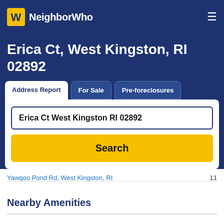NeighborWho
Erica Ct, West Kingston, RI 02892
Address Report | For Sale | Pre-foreclosures
Erica Ct West Kingston RI 02892
Search
Yawgoo Pond Rd, West Kingston, RI   11
Nearby Amenities